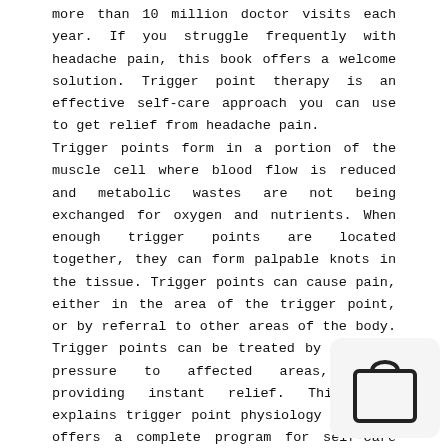more than 10 million doctor visits each year. If you struggle frequently with headache pain, this book offers a welcome solution. Trigger point therapy is an effective self-care approach you can use to get relief from headache pain.
Trigger points form in a portion of the muscle cell where blood flow is reduced and metabolic wastes are not being exchanged for oxygen and nutrients. When enough trigger points are located together, they can form palpable knots in the tissue. Trigger points can cause pain, either in the area of the trigger point, or by referral to other areas of the body. Trigger points can be treated by applying pressure to affected areas, often providing instant relief. This book explains trigger point physiology and then offers a complete program for self-care that includes detailed illustrations of all pressure and stretching techniques. In addition, it provides an in-depth look at the factors that cause and perpetuate trigger points, such as body mechani cs, diet and nutritional deficiencies, hormonal imbalances, emotional factors, and provides solutions to address each perpetuating factor.
[Figure (illustration): Shopping bag icon in a rounded rectangle overlay in the bottom-right corner]